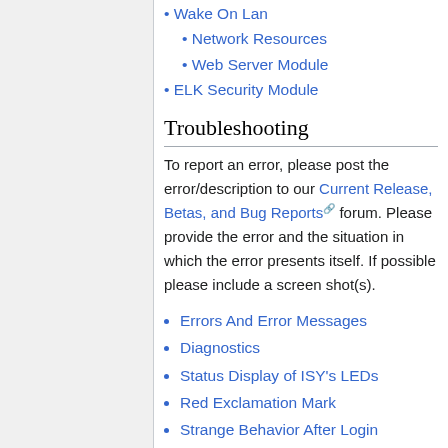Wake On Lan
Network Resources
Web Server Module
ELK Security Module
Troubleshooting
To report an error, please post the error/description to our Current Release, Betas, and Bug Reports forum. Please provide the error and the situation in which the error presents itself. If possible please include a screen shot(s).
Errors And Error Messages
Diagnostics
Status Display of ISY's LEDs
Red Exclamation Mark
Strange Behavior After Login
X-10 Troubleshooting